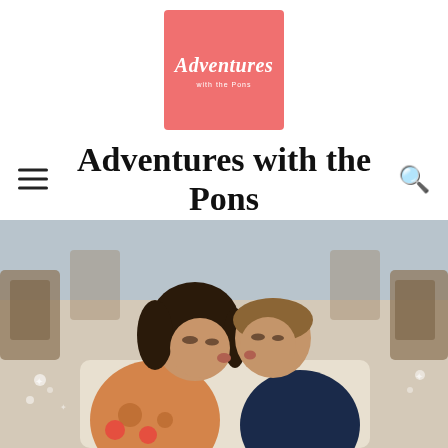[Figure (logo): Pink/salmon square logo with cursive white text 'Adventures' and smaller subtitle text below]
Adventures with the Pons
[Figure (photo): A girl in a Minnie Mouse print orange/tan top and a younger boy in a dark navy hoodie leaning in to kiss each other while seated in airport/public seating area with brown chairs in background]